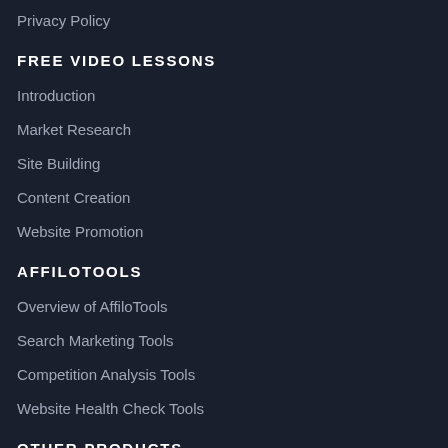Privacy Policy
FREE VIDEO LESSONS
Introduction
Market Research
Site Building
Content Creation
Website Promotion
AFFILOTOOLS
Overview of AffiloTools
Search Marketing Tools
Competition Analysis Tools
Website Health Check Tools
OTHER PRODUCTS